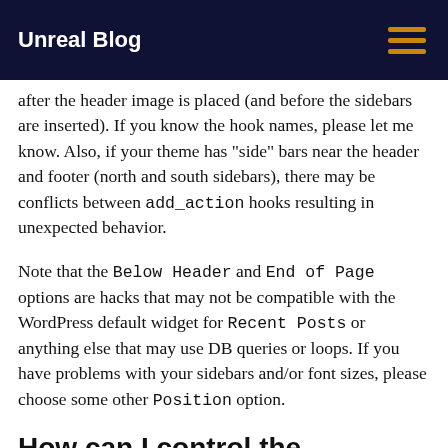Unreal Blog
after the header image is placed (and before the sidebars are inserted). If you know the hook names, please let me know. Also, if your theme has "side" bars near the header and footer (north and south sidebars), there may be conflicts between add_action hooks resulting in unexpected behavior.
Note that the Below Header and End of Page options are hacks that may not be compatible with the WordPress default widget for Recent Posts or anything else that may use DB queries or loops. If you have problems with your sidebars and/or font sizes, please choose some other Position option.
How can I control the appearance of the adsense using CSS?
All adsense that Easy Plugin for AdSense creates have the class